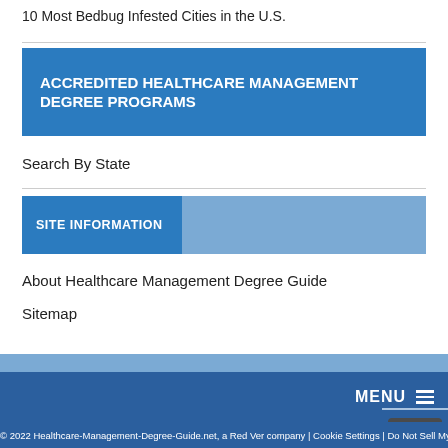10 Most Bedbug Infested Cities in the U.S.
ACCREDITED HEALTHCARE MANAGEMENT DEGREE PROGRAMS
Search By State
SITE INFORMATION
About Healthcare Management Degree Guide
Sitemap
© 2022 Healthcare-Management-Degree-Guide.net, a Red Ver company | Cookie Settings | Do Not Sell My Info